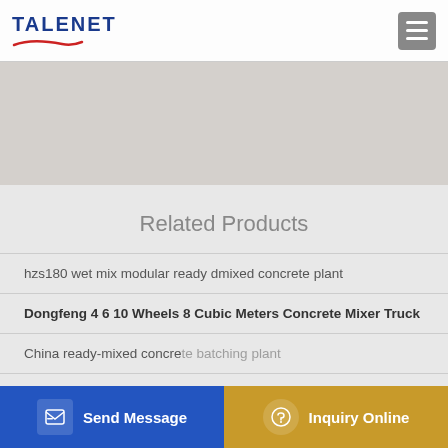[Figure (logo): TALENET company logo with red swoosh underline]
[Figure (photo): Hero/banner image area with light grey background]
Related Products
hzs180 wet mix modular ready dmixed concrete plant
Dongfeng 4 6 10 Wheels 8 Cubic Meters Concrete Mixer Truck
China ready-mixed concrete batching plant
China Latest Technology Elaborate Design Concrete Mixer
Send Message | Inquiry Online